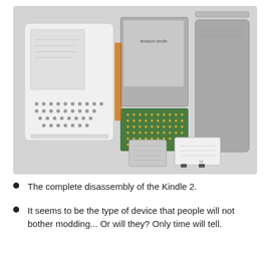[Figure (photo): Disassembled Amazon Kindle 2 showing all internal and external components laid out: white front casing with keyboard, green circuit board with e-ink display, grey back cover, battery, wireless card, and other parts spread on a light grey surface.]
The complete disassembly of the Kindle 2.
It seems to be the type of device that people will not bother modding... Or will they? Only time will tell.